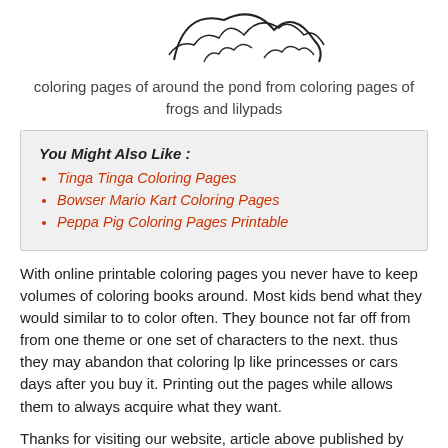[Figure (illustration): Partial view of a coloring page illustration showing outline drawing of frogs and pond scene, cropped at top]
coloring pages of around the pond from coloring pages of frogs and lilypads
You Might Also Like :
Tinga Tinga Coloring Pages
Bowser Mario Kart Coloring Pages
Peppa Pig Coloring Pages Printable
With online printable coloring pages you never have to keep volumes of coloring books around. Most kids bend what they would similar to to color often. They bounce not far off from from one theme or one set of characters to the next. thus they may abandon that coloring lp like princesses or cars days after you buy it. Printing out the pages while allows them to always acquire what they want.
Thanks for visiting our website, article above published by divyajanani.org. Today we're pleased to declare we have discovered an incredibly interesting topic to be pointed out. namely. Coloring